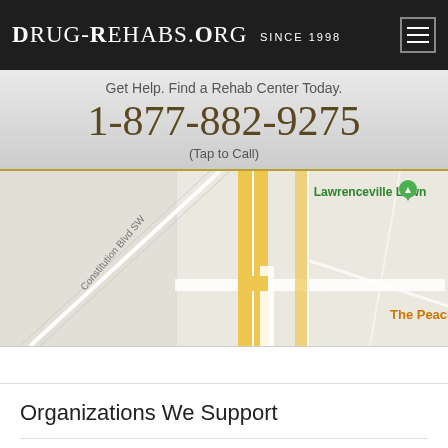Drug-Rehabs.org Since 1998
Get Help. Find a Rehab Center Today.
1-877-882-9275
(Tap to Call)
[Figure (map): Street map showing Constitution Blvd SW area with Lawrenceville Lawn marker and The Peachtree Cafe label]
Organizations We Support